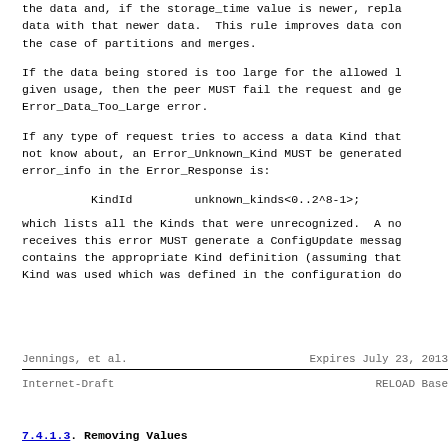the data and, if the storage_time value is newer, replace the data with that newer data.  This rule improves data consistency in the case of partitions and merges.
If the data being stored is too large for the allowed limits for the given usage, then the peer MUST fail the request and generate an Error_Data_Too_Large error.
If any type of request tries to access a data Kind that the peer does not know about, an Error_Unknown_Kind MUST be generated.  The error_info in the Error_Response is:
which lists all the Kinds that were unrecognized.  A node that receives this error MUST generate a ConfigUpdate message that contains the appropriate Kind definition (assuming that a valid Kind was used which was defined in the configuration do
Jennings, et al.          Expires July 23, 2013
Internet-Draft                    RELOAD Base
7.4.1.3.  Removing Values